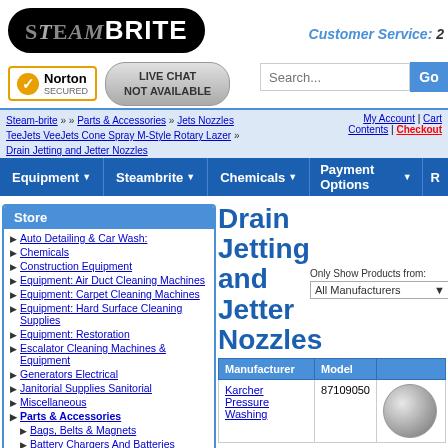[Figure (logo): Steam-Brite logo with oval black border]
Customer Service:
[Figure (logo): Norton Secured badge with checkmark]
[Figure (other): Live Chat Not Available pill button]
Search...
Steam-brite » » Parts & Accessories » Jets Nozzles TeeJets VeeJets Cone Spray M-Style Rotary Lazer » Drain Jetting and Jetter Nozzles | My Account | Cart Contents | Checkout
Equipment · Steambrite · Chemicals · Payment Options ·
Store
Auto Detailing & Car Wash:
Chemicals
Construction Equipment
Equipment: Air Duct Cleaning Machines
Equipment: Carpet Cleaning Machines
Equipment: Hard Surface Cleaning Supplies
Equipment: Restoration
Escalator Cleaning Machines & Equipment
Generators Electrical
Janitorial Supplies Sanitorial
Miscellaneous
Parts & Accessories
Bags, Belts & Magnets
Battery Chargers And Batteries
Blowers and Vacuum Pumps
Bottles
Brass, Plastic, Steel, Stainless Hydraulic
Drain Jetting and Jetter Nozzles
Only Show Products from:
All Manufacturers
| Manufacturer | Model |
| --- | --- |
| Karcher Pressure Washing | 87109050 |